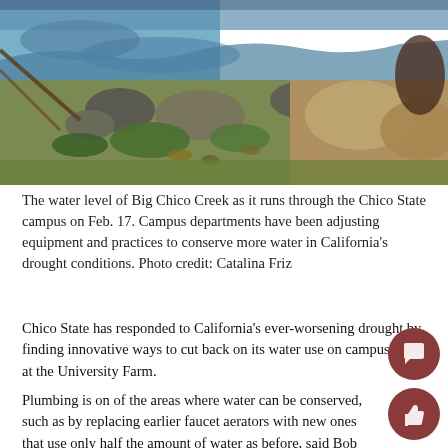[Figure (photo): Photo of the water level of Big Chico Creek as it runs through the Chico State campus on Feb. 17, showing rocks, moss, and low water.]
The water level of Big Chico Creek as it runs through the Chico State campus on Feb. 17. Campus departments have been adjusting equipment and practices to conserve more water in California's drought conditions. Photo credit: Catalina Friz
Chico State has responded to California's ever-worsening drought by finding innovative ways to cut back on its water use on campus and at the University Farm.
Plumbing is on of the areas where water can be conserved, such as by replacing earlier faucet aerators with new ones that use only half the amount of water as before, said Bob Francis, lead plumber for Facilities Management and Services.